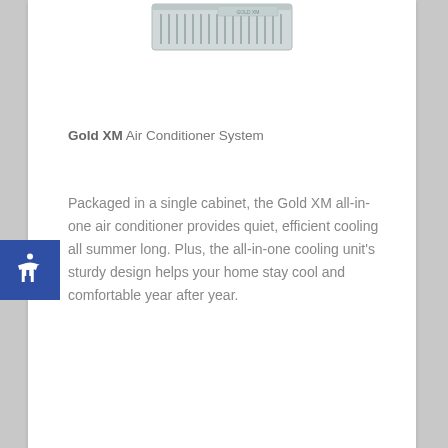[Figure (photo): Partial top view of a Gold XM Air Conditioner unit, a rectangular metal cabinet with grille, cropped at the top of the page]
Gold XM Air Conditioner System
Packaged in a single cabinet, the Gold XM all-in-one air conditioner provides quiet, efficient cooling all summer long. Plus, the all-in-one cooling unit's sturdy design helps your home stay cool and comfortable year after year.